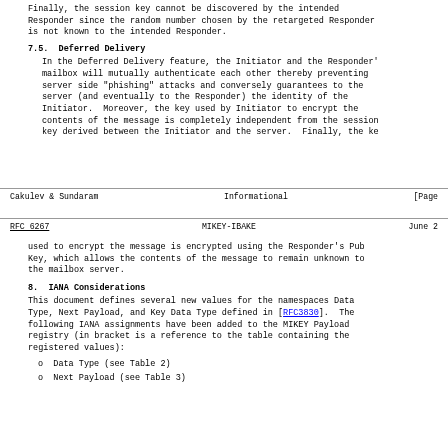Finally, the session key cannot be discovered by the intended Responder since the random number chosen by the retargeted Responder is not known to the intended Responder.
7.5.  Deferred Delivery
In the Deferred Delivery feature, the Initiator and the Responder's mailbox will mutually authenticate each other thereby preventing server side "phishing" attacks and conversely guarantees to the server (and eventually to the Responder) the identity of the Initiator.  Moreover, the key used by Initiator to encrypt the contents of the message is completely independent from the session key derived between the Initiator and the server.  Finally, the ke
Cakulev & Sundaram                Informational                    [Page
RFC 6267                        MIKEY-IBAKE                       June 2
used to encrypt the message is encrypted using the Responder's Public Key, which allows the contents of the message to remain unknown to the mailbox server.
8.  IANA Considerations
This document defines several new values for the namespaces Data Type, Next Payload, and Key Data Type defined in [RFC3830].  The following IANA assignments have been added to the MIKEY Payload registry (in bracket is a reference to the table containing the registered values):
o  Data Type (see Table 2)
o  Next Payload (see Table 3)